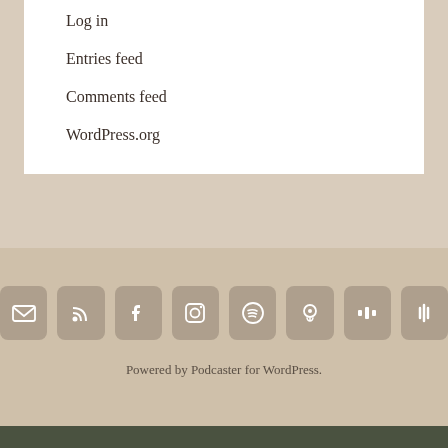Log in
Entries feed
Comments feed
WordPress.org
[Figure (infographic): Row of 8 social/podcast icon buttons: email, RSS, Facebook, Instagram, Spotify, Apple Podcasts, Castbox/Spreaker, Google Podcasts]
Powered by Podcaster for WordPress.